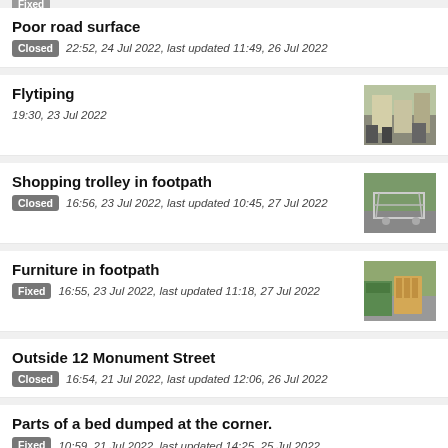Poor road surface — Closed 22:52, 24 Jul 2022, last updated 11:49, 26 Jul 2022
Flytiping — 19:30, 23 Jul 2022
Shopping trolley in footpath — Closed 16:56, 23 Jul 2022, last updated 10:45, 27 Jul 2022
Furniture in footpath — Fixed 16:55, 23 Jul 2022, last updated 11:18, 27 Jul 2022
Outside 12 Monument Street — Closed 16:54, 21 Jul 2022, last updated 12:06, 26 Jul 2022
Parts of a bed dumped at the corner. — Fixed 10:59, 21 Jul 2022, last updated 14:25, 25 Jul 2022
Double mattress — Fixed 13:41, 20 Jul 2022, last updated 11:48, 22 Jul 2022